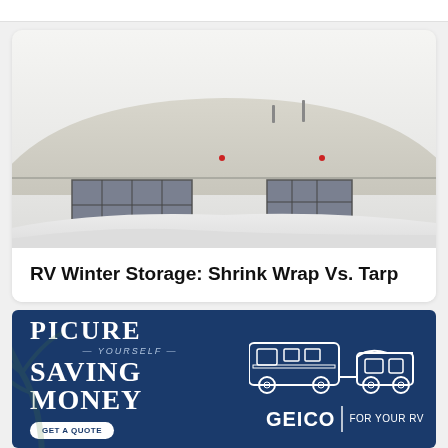[Figure (photo): RV or building covered in snow during winter, white snowy scene with rounded roof structure and windows visible]
RV Winter Storage: Shrink Wrap Vs. Tarp
[Figure (illustration): GEICO advertisement banner with dark blue background showing truck towing an RV, text reads PICURE YOURSELF SAVING MONEY, GET A QUOTE button, GEICO FOR YOUR RV logo]